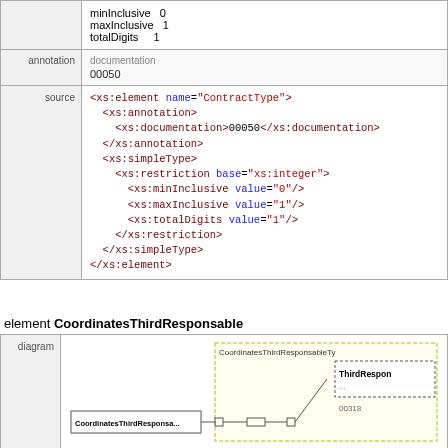|  |  |
| --- | --- |
|  | minInclusive  0
maxInclusive  1
totalDigits     1 |
| annotation | documentation
00050 |
| source | <xs:element name="ContractType">
  <xs:annotation>
    <xs:documentation>00050</xs:documentation>
  </xs:annotation>
  <xs:simpleType>
    <xs:restriction base="xs:integer">
      <xs:minInclusive value="0"/>
      <xs:maxInclusive value="1"/>
      <xs:totalDigits value="1"/>
    </xs:restriction>
  </xs:simpleType>
</xs:element> |
element CoordinatesThirdResponsable
[Figure (schematic): Diagram showing CoordinatesThirdResponsable element with connection to CoordinatesThirdResponsableType and ThirdRespon... node with code 00318]